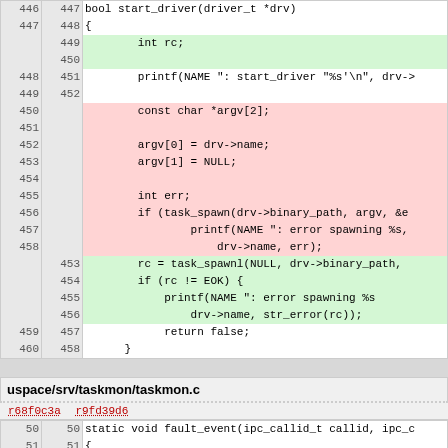| old_ln | new_ln | code |
| --- | --- | --- |
| 446 | 447 | bool start_driver(driver_t *drv) |
| 447 | 448 | { |
|  | 449 |     int rc; |
|  | 450 |  |
| 448 | 451 |         printf(NAME ": start_driver "%s'\n", drv-> |
| 449 | 452 |  |
| 450 |  |         const char *argv[2]; |
| 451 |  |  |
| 452 |  |         argv[0] = drv->name; |
| 453 |  |         argv[1] = NULL; |
| 454 |  |  |
| 455 |  |         int err; |
| 456 |  |         if (task_spawn(drv->binary_path, argv, &e |
| 457 |  |                 printf(NAME ": error spawning %s, |
| 458 |  |                     drv->name, err); |
|  | 453 |         rc = task_spawnl(NULL, drv->binary_path, |
|  | 454 |         if (rc != EOK) { |
|  | 455 |             printf(NAME ": error spawning %s |
|  | 456 |                 drv->name, str_error(rc)); |
| 459 | 457 |             return false; |
| 460 | 458 |         } |
| old_ln | new_ln | code |
| --- | --- | --- |
| 50 | 50 | static void fault_event(ipc_callid_t callid, ipc_c |
| 51 | 51 | { |
| 52 |  |     const char *argv[6]; |
| 53 | 52 |     const char *fname; |
| 54 |  |     char *dump_fname; |
| 55 | 53 |     char *c_taskid; |